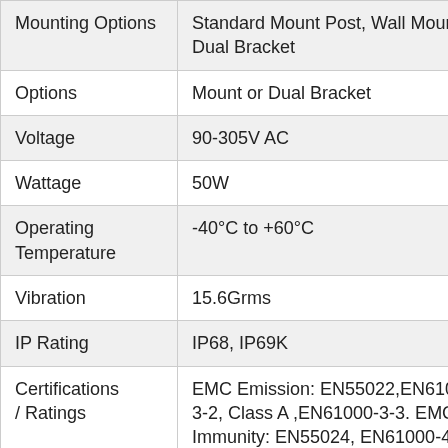| Mounting Options | Standard Mount Post, Wall Mount or Dual Bracket |
| Voltage | 90-305V AC |
| Wattage | 50W |
| Operating Temperature | -40°C to +60°C |
| Vibration | 15.6Grms |
| IP Rating | IP68, IP69K |
| Certifications / Ratings | EMC Emission: EN55022,EN61000-3-2, Class A ,EN61000-3-3. EMC Immunity: EN55024, EN61000-4-2,3,4,5,6,8,11; light industry level (surge 2KV), criteria A |
| Short Circuit | Constant current limiting, |